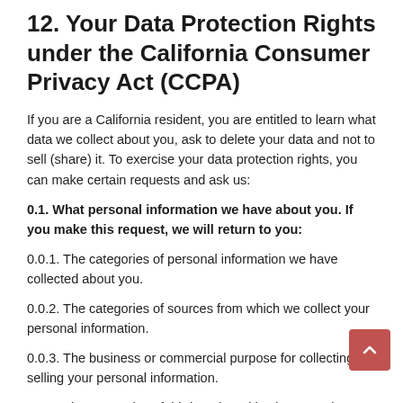12. Your Data Protection Rights under the California Consumer Privacy Act (CCPA)
If you are a California resident, you are entitled to learn what data we collect about you, ask to delete your data and not to sell (share) it. To exercise your data protection rights, you can make certain requests and ask us:
0.1. What personal information we have about you. If you make this request, we will return to you:
0.0.1. The categories of personal information we have collected about you.
0.0.2. The categories of sources from which we collect your personal information.
0.0.3. The business or commercial purpose for collecting or selling your personal information.
0.0.4. The categories of third parties with whom we share